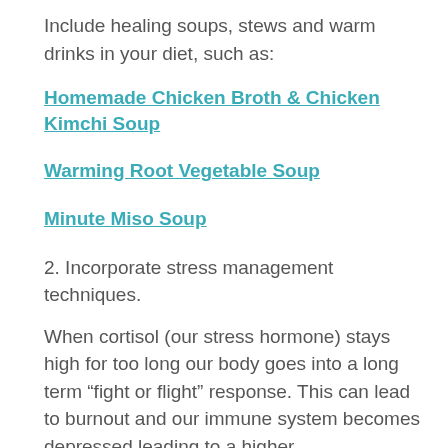Include healing soups, stews and warm drinks in your diet, such as:
Homemade Chicken Broth & Chicken Kimchi Soup
Warming Root Vegetable Soup
Minute Miso Soup
2. Incorporate stress management techniques.
When cortisol (our stress hormone) stays high for too long our body goes into a long term “fight or flight” response. This can lead to burnout and our immune system becomes depressed leading to a higher